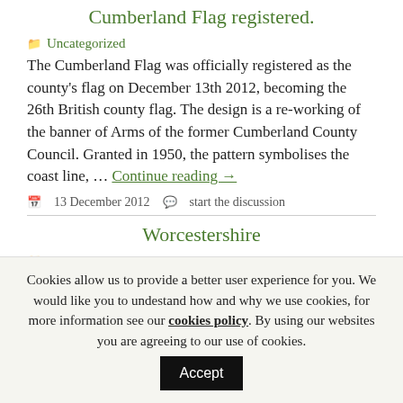Cumberland Flag registered.
Uncategorized
The Cumberland Flag was officially registered as the county's flag on December 13th 2012, becoming the 26th British county flag. The design is a re-working of the banner of Arms of the former Cumberland County Council. Granted in 1950, the pattern symbolises the coast line, ... Continue reading →
13 December 2012  start the discussion
Worcestershire
Uncategorized
Click on the link
Cookies allow us to provide a better user experience for you. We would like you to undestand how and why we use cookies, for more information see our cookies policy. By using our websites you are agreeing to our use of cookies.